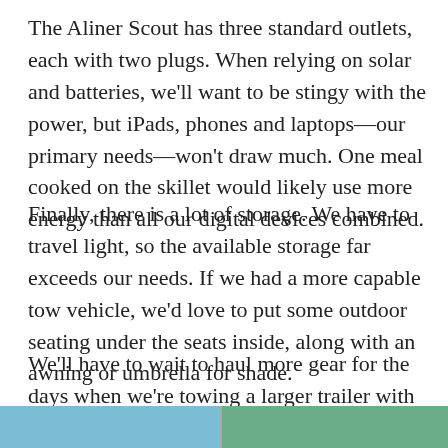The Aliner Scout has three standard outlets, each with two plugs. When relying on solar and batteries, we'll want to be stingy with the power, but iPads, phones and laptops—our primary needs—won't draw much. One meal cooked on the skillet would likely use more energy than all our digital devices combined.
Finally, there is a lot of storage. We have to travel light, so the available storage far exceeds our needs. If we had a more capable tow vehicle, we'd love to put some outdoor seating under the seats inside, along with an awning or umbrella for shade.
We'll have to wait to haul more gear for the days when we're towing a larger trailer with our Rivian R1T, our Tesla Cybertruck or our Chevy Silverado EV.
[Figure (photo): Partial photo strip visible at the bottom of the page, showing a teal/blue outdoor scene.]